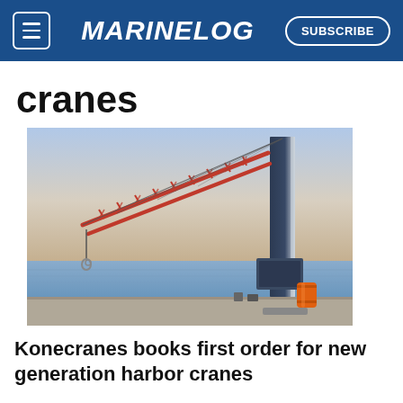MARINELOG | SUBSCRIBE
cranes
[Figure (photo): Harbor crane at a waterfront dock, featuring a red lattice boom extending diagonally over the water, attached to a tall dark vertical mast. A small hook hangs from the end of the boom. An orange barrel and dock equipment are visible at the base. Calm water and a hazy sunset sky in the background.]
Konecranes books first order for new generation harbor cranes